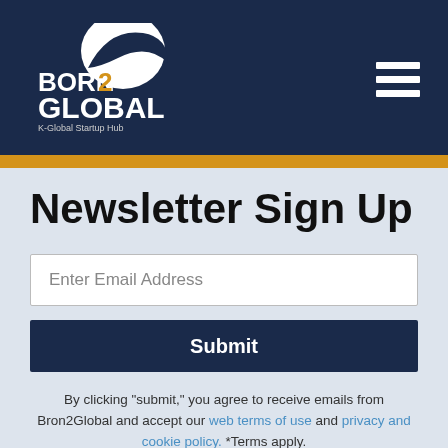Born2Global K-Global Startup Hub — Navigation header with hamburger menu
Newsletter Sign Up
Enter Email Address
Submit
By clicking "submit," you agree to receive emails from Bron2Global and accept our web terms of use and privacy and cookie policy. *Terms apply.